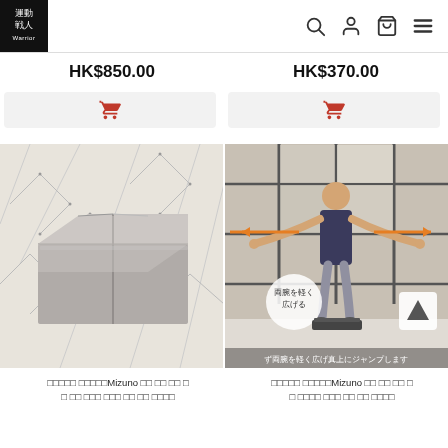運動 戦人 (logo) — navigation icons
HK$850.00
HK$370.00
[Figure (photo): Shopping cart button (left)]
[Figure (photo): Shopping cart button (right)]
[Figure (photo): Grey foam yoga block / mat folded on white carpet]
[Figure (photo): Person standing on fitness step board doing arm exercise with orange arrows indicating arm spread motion, Japanese text circle overlay '両腕を軽く広げる', text at bottom 'ず両腕を軽く広げ真上にジャンプします']
□□□□□ □□□□□Mizuno □□ □□ □□ □
□ □□ □□□ □□□ □□ □□ □□□□
□□□□□ □□□□□Mizuno □□ □□ □□ □
□ □□□□ □□□ □□ □□ □□□□